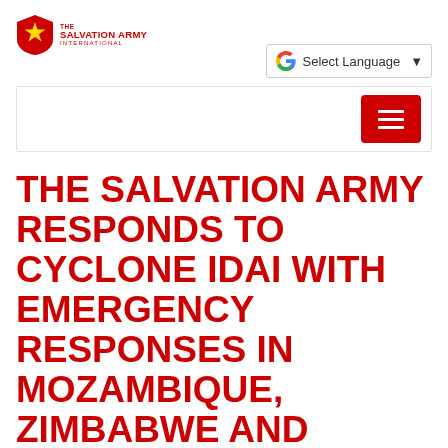[Figure (logo): The Salvation Army International logo — red shield with yellow star and text]
Select Language
THE SALVATION ARMY RESPONDS TO CYCLONE IDAI WITH EMERGENCY RESPONSES IN MOZAMBIQUE, ZIMBABWE AND MALAWI
20 March 2019